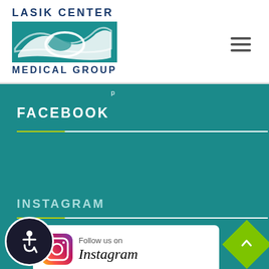[Figure (logo): Lasik Center Medical Group logo with teal wave graphic and dark blue text]
[Figure (other): Hamburger menu icon (three horizontal lines)]
FACEBOOK
BOOK A VIRTUAL CONSULTATION
INSTAGRAM
[Figure (screenshot): Follow us on Instagram banner with Instagram logo icon]
[Figure (other): Accessibility (wheelchair) icon button]
[Figure (other): Scroll to top green diamond button with up arrow]